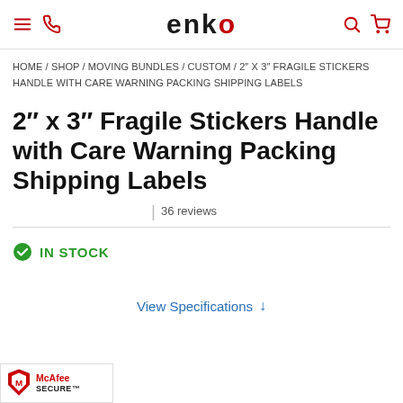enko
HOME / SHOP / MOVING BUNDLES / CUSTOM / 2″ X 3″ FRAGILE STICKERS HANDLE WITH CARE WARNING PACKING SHIPPING LABELS
2″ x 3″ Fragile Stickers Handle with Care Warning Packing Shipping Labels
36 reviews
IN STOCK
View Specifications ↓
[Figure (logo): McAfee SECURE badge with red shield logo]